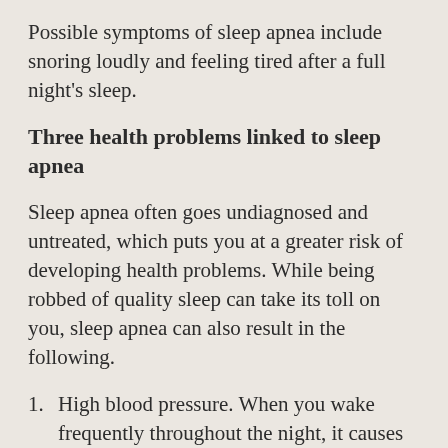Possible symptoms of sleep apnea include snoring loudly and feeling tired after a full night's sleep.
Three health problems linked to sleep apnea
Sleep apnea often goes undiagnosed and untreated, which puts you at a greater risk of developing health problems. While being robbed of quality sleep can take its toll on you, sleep apnea can also result in the following.
High blood pressure. When you wake frequently throughout the night, it causes your body's hormonal systems to become unbalanced and go into overdrive. This results in high blood pressure.